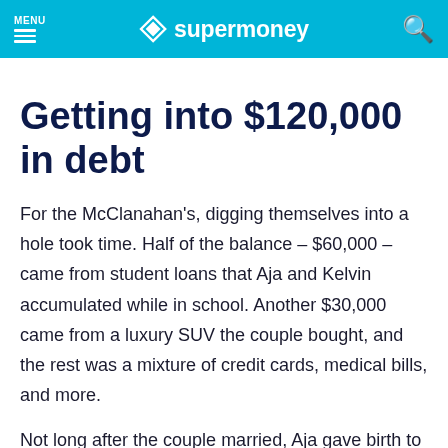MENU supermoney
Getting into $120,000 in debt
For the McClanahan's, digging themselves into a hole took time. Half of the balance – $60,000 – came from student loans that Aja and Kelvin accumulated while in school. Another $30,000 came from a luxury SUV the couple bought, and the rest was a mixture of credit cards, medical bills, and more.
Not long after the couple married, Aja gave birth to their first child, and realized that the debt to...